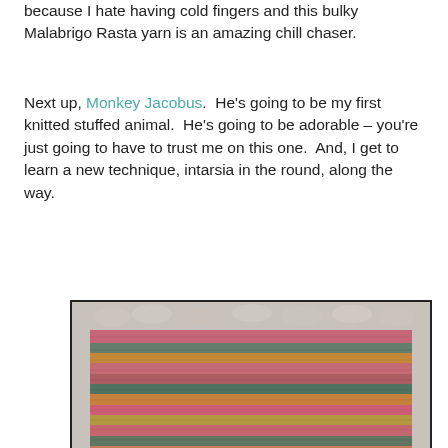because I hate having cold fingers and this bulky Malabrigo Rasta yarn is an amazing chill chaser.
Next up, Monkey Jacobus. He's going to be my first knitted stuffed animal. He's going to be adorable – you're just going to have to trust me on this one. And, I get to learn a new technique, intarsia in the round, along the way.
[Figure (photo): A colorful hand-knitted swatch with pink, green, orange, teal, and yellow stripes, laid on a white chunky knit background. There is a dark scroll-to-top button in the bottom right corner of the image frame.]